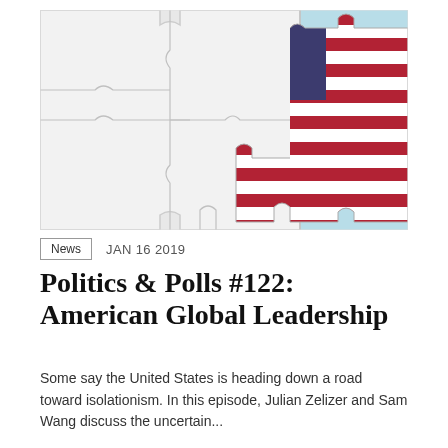[Figure (photo): Puzzle pieces on a light blue background — mostly white/grey interlocking pieces with one puzzle piece featuring the American flag (navy blue with white stars and red/white stripes) visible on the right side.]
News   JAN 16 2019
Politics & Polls #122: American Global Leadership
Some say the United States is heading down a road toward isolationism. In this episode, Julian Zelizer and Sam Wang discuss the uncertain...